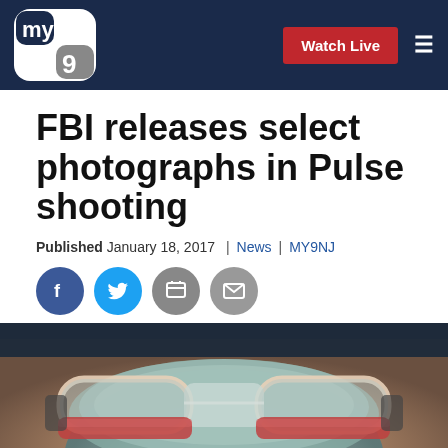MY9 | Watch Live
FBI releases select photographs in Pulse shooting
Published January 18, 2017 | News | MY9NJ
[Figure (illustration): Social sharing icons: Facebook, Twitter, Print, Email]
[Figure (photo): A close-up photograph of protective goggles/mask, evidence from the Pulse nightclub shooting investigation]